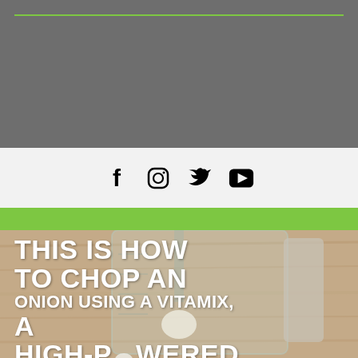[Figure (other): Gray banner section at top of page with a green horizontal rule near the top edge]
[Figure (other): Social media icons bar: Facebook, Instagram, Twitter, YouTube icons on light gray background]
[Figure (other): Green horizontal band separator]
[Figure (photo): Photo of a Vitamix blender container (clear glass jar with measurement markings) on a wooden surface, with white bold text overlay reading: THIS IS HOW TO CHOP AN ONION USING A VITAMIX, A HIGH-POWERED]
THIS IS HOW TO CHOP AN ONION USING A VITAMIX, A HIGH-POWERED